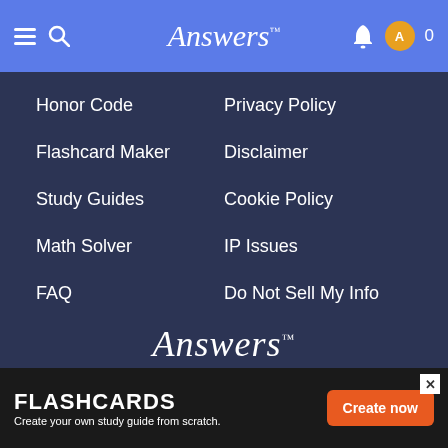Answers
Honor Code
Privacy Policy
Flashcard Maker
Disclaimer
Study Guides
Cookie Policy
Math Solver
IP Issues
FAQ
Do Not Sell My Info
[Figure (logo): Answers logo in white serif italic font]
[Figure (infographic): Social media icons: Facebook, Twitter, Instagram, YouTube, Pinterest, TikTok]
Made with ❤ in St. Louis
Copyright ©2022 System1, LLC. All Rights Reserved. The material on this site can not be reproduced, distributed, transmitted, cached or otherwise
FLASHCARDS Create your own study guide from scratch.
Create now